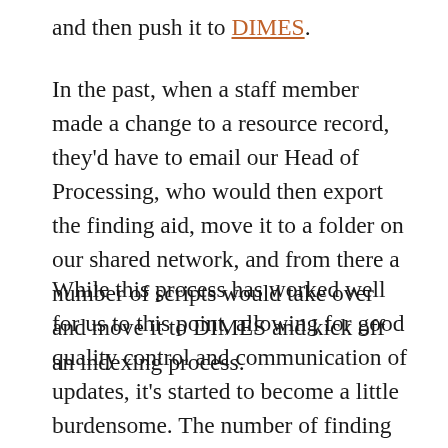and then push it to DIMES.
In the past, when a staff member made a change to a resource record, they'd have to email our Head of Processing, who would then export the finding aid, move it to a folder on our shared network, and from there a number of scripts would take over and move it to DIMES and kick off an indexing process.
While this process has worked well for us to this point, allowing for good quality control and communication of updates, it's started to become a little burdensome. The number of finding aids in DIMES has grown exponentially over the last few years, and with the